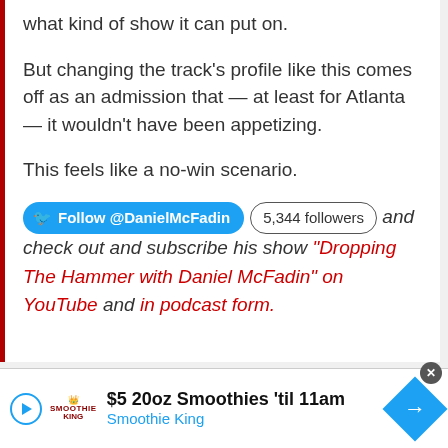what kind of show it can put on.
But changing the track’s profile like this comes off as an admission that — at least for Atlanta — it wouldn’t have been appetizing.
This feels like a no-win scenario.
Follow @DanielMcFadin  5,344 followers  and check out and subscribe his show “Dropping The Hammer with Daniel McFadin” on YouTube and in podcast form.
[Figure (other): Advertisement banner for Smoothie King: $5 20oz Smoothies 'til 11am]
$5 20oz Smoothies ’til 11am Smoothie King